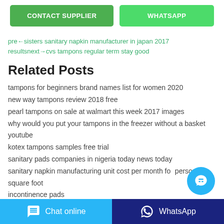[Figure (other): Two green buttons: CONTACT SUPPLIER and WHATSAPP]
pre←sisters sanitary napkin manufacturer in japan 2017 results next→cvs tampons regular term stay good
Related Posts
tampons for beginners brand names list for women 2020
new way tampons review 2018 free
pearl tampons on sale at walmart this week 2017 images
why would you put your tampons in the freezer without a basket youtube
kotex tampons samples free trial
sanitary pads companies in nigeria today news today
sanitary napkin manufacturing unit cost per month for person per square foot
incontinence pads
treatment for sanitary pad rash on face coronavirus in
[Figure (other): Floating blue chat bubble with ellipsis icon]
[Figure (other): Bottom bar with Chat online (blue) and WhatsApp (dark blue) buttons]